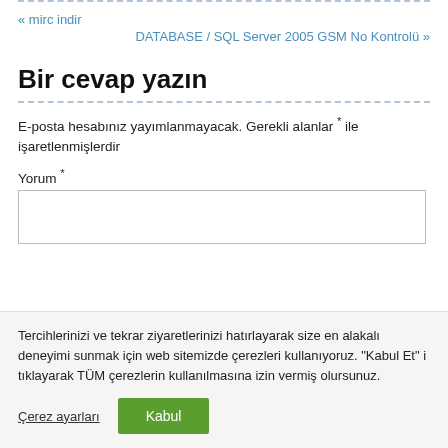« mirc indir
DATABASE / SQL Server 2005 GSM No Kontrolü »
Bir cevap yazın
E-posta hesabınız yayımlanmayacak. Gerekli alanlar * ile işaretlenmişlerdir
Yorum *
Tercihlerinizi ve tekrar ziyaretlerinizi hatırlayarak size en alakalı deneyimi sunmak için web sitemizde çerezleri kullanıyoruz. "Kabul Et" i tıklayarak TÜM çerezlerin kullanılmasına izin vermiş olursunuz.
Çerez ayarları
Kabul